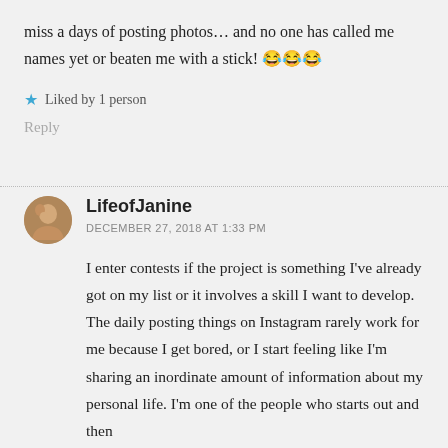miss a days of posting photos… and no one has called me names yet or beaten me with a stick! 😂😂😂
★ Liked by 1 person
Reply
LifeofJanine
DECEMBER 27, 2018 AT 1:33 PM
I enter contests if the project is something I've already got on my list or it involves a skill I want to develop. The daily posting things on Instagram rarely work for me because I get bored, or I start feeling like I'm sharing an inordinate amount of information about my personal life. I'm one of the people who starts out and then